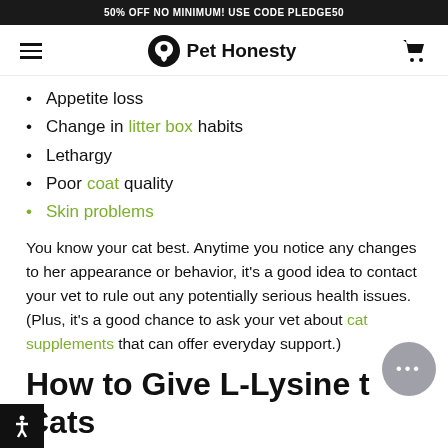50% OFF NO MINIMUM! USE CODE PLEDGE50
[Figure (logo): Pet Honesty logo with hamburger menu and cart icon navigation bar]
Appetite loss
Change in litter box habits
Lethargy
Poor coat quality
Skin problems
You know your cat best. Anytime you notice any changes to her appearance or behavior, it's a good idea to contact your vet to rule out any potentially serious health issues. (Plus, it's a good chance to ask your vet about cat supplements that can offer everyday support.)
How to Give L-Lysine to Cats